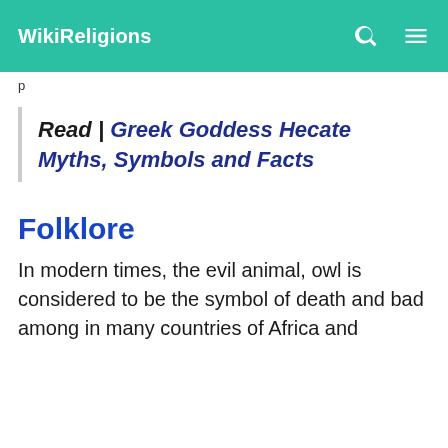WikiReligions
p
Read | Greek Goddess Hecate Myths, Symbols and Facts
Folklore
In modern times, the evil animal, owl is considered to be the symbol of death and bad among in many countries of Africa and